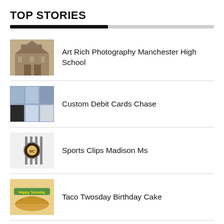TOP STORIES
Art Rich Photography Manchester High School
Custom Debit Cards Chase
Sports Clips Madison Ms
Taco Twosday Birthday Cake
What Kind Of Animal Am I